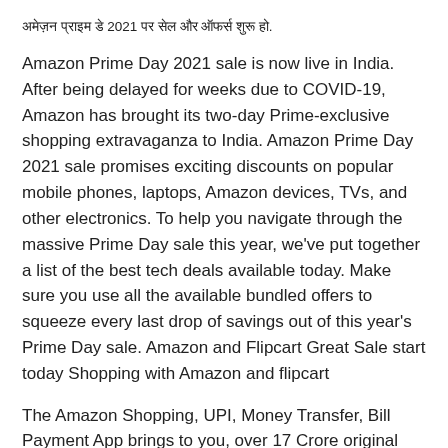अमेज़न प्राइम डे 2021 पर सेल और ऑफर्स शुरू हो.
Amazon Prime Day 2021 sale is now live in India. After being delayed for weeks due to COVID-19, Amazon has brought its two-day Prime-exclusive shopping extravaganza to India. Amazon Prime Day 2021 sale promises exciting discounts on popular mobile phones, laptops, Amazon devices, TVs, and other electronics. To help you navigate through the massive Prime Day sale this year, we've put together a list of the best tech deals available today. Make sure you use all the available bundled offers to squeeze every last drop of savings out of this year's Prime Day sale. Amazon and Flipcart Great Sale start today Shopping with Amazon and flipcart
The Amazon Shopping, UPI, Money Transfer, Bill Payment App brings to you, over 17 Crore original products, at great prices & deals. Shop on the Amazon App for the latest electronics Redmi Y3,Apple iPhone,Samsung Galaxy, OnePlus 7 Pro & more, accessories - earphones,chargers,power banks.Shop for your home needs